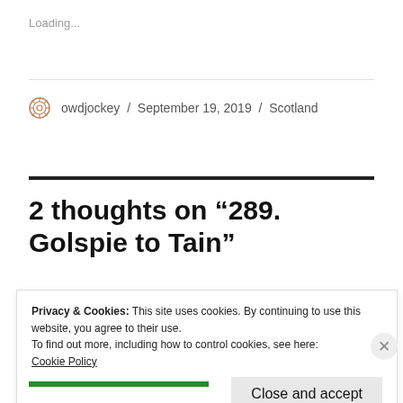Loading...
owdjockey / September 19, 2019 / Scotland
2 thoughts on “289. Golspie to Tain”
Privacy & Cookies: This site uses cookies. By continuing to use this website, you agree to their use.
To find out more, including how to control cookies, see here:
Cookie Policy
Close and accept